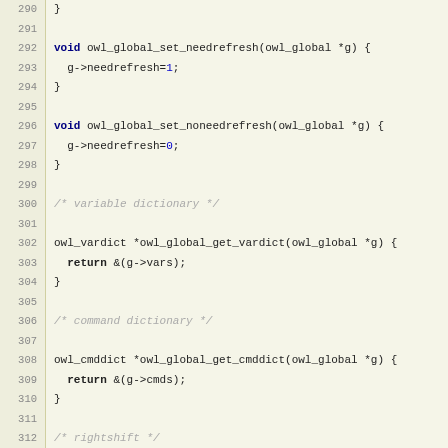[Figure (screenshot): Source code listing in C, lines 290-322, showing owl_global utility functions for needrefresh, noneedrefresh, vardict, cmddict, rightshift, and typwin on a beige/tan background with line numbers.]